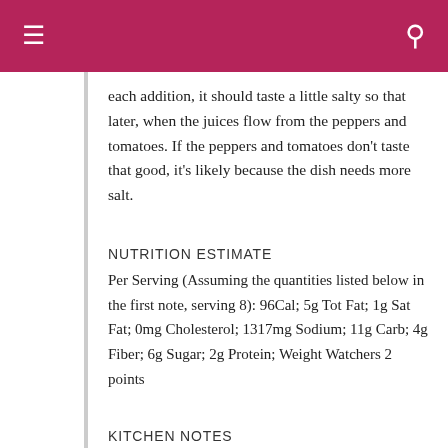each addition, it should taste a little salty so that later, when the juices flow from the peppers and tomatoes. If the peppers and tomatoes don't taste that good, it's likely because the dish needs more salt.
NUTRITION ESTIMATE
Per Serving (Assuming the quantities listed below in the first note, serving 8): 96Cal; 5g Tot Fat; 1g Sat Fat; 0mg Cholesterol; 1317mg Sodium; 11g Carb; 4g Fiber; 6g Sugar; 2g Protein; Weight Watchers 2 points
KITCHEN NOTES
I'm not giving quantities because this salad so easily adapts to small and large quantities. Still,